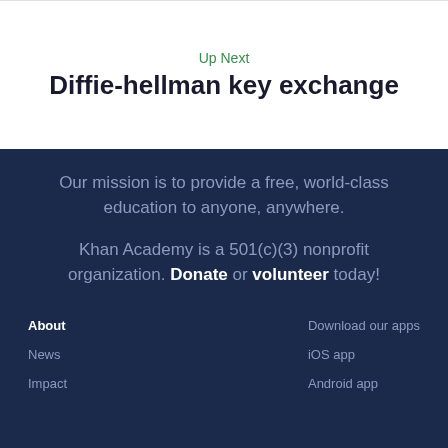Up Next
Diffie-hellman key exchange
Our mission is to provide a free, world-class education to anyone, anywhere.
Khan Academy is a 501(c)(3) nonprofit organization. Donate or volunteer today!
About
Download our apps
News
iOS app
Impact
Android app